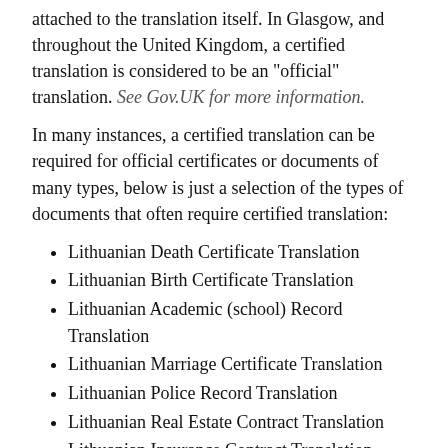attached to the translation itself. In Glasgow, and throughout the United Kingdom, a certified translation is considered to be an "official" translation. See Gov.UK for more information.
In many instances, a certified translation can be required for official certificates or documents of many types, below is just a selection of the types of documents that often require certified translation:
Lithuanian Death Certificate Translation
Lithuanian Birth Certificate Translation
Lithuanian Academic (school) Record Translation
Lithuanian Marriage Certificate Translation
Lithuanian Police Record Translation
Lithuanian Real Estate Contract Translation
Lithuanian Insurance Contract Translation
Lithuanian Medical Report Translation
Lithuanian Passport Translation
Lithuanian Certified Translation Prices
The cost for a certified translation from Lithuanian to English